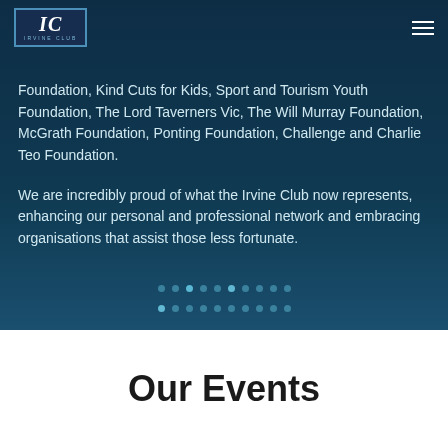IC IRVINE CLUB
Foundation, Kind Cuts for Kids, Sport and Tourism Youth Foundation, The Lord Taverners Vic, The Will Murray Foundation, McGrath Foundation, Ponting Foundation, Challenge and Charlie Teo Foundation.
We are incredibly proud of what the Irvine Club now represents, enhancing our personal and professional network and embracing organisations that assist those less fortunate.
Our Events